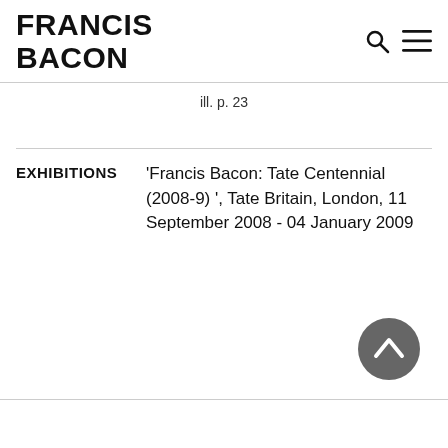FRANCIS BACON
ill. p. 23
EXHIBITIONS
'Francis Bacon: Tate Centennial (2008-9) ', Tate Britain, London, 11 September 2008 - 04 January 2009